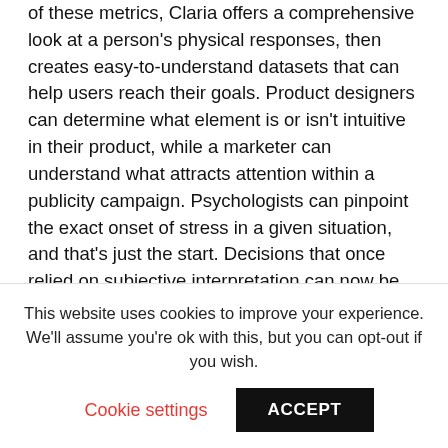saccade. While other biometric tools can track one or two of these metrics, Claria offers a comprehensive look at a person's physical responses, then creates easy-to-understand datasets that can help users reach their goals. Product designers can determine what element is or isn't intuitive in their product, while a marketer can understand what attracts attention within a publicity campaign. Psychologists can pinpoint the exact onset of stress in a given situation, and that's just the start. Decisions that once relied on subjective interpretation can now be made using empirical data.
“Claria takes the guesswork out of designing products and campaigns,” said Bill Fishkin, co-founder and CEO of
This website uses cookies to improve your experience. We'll assume you're ok with this, but you can opt-out if you wish.
Cookie settings | ACCEPT